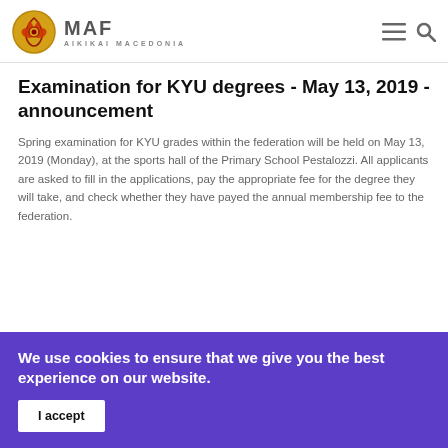MAF AIKIKAI MACEDONIA
Examination for KYU degrees - May 13, 2019 - announcement
Spring examination for KYU grades within the federation will be held on May 13, 2019 (Monday), at the sports hall of the Primary School Pestalozzi. All applicants are asked to fill in the applications, pay the appropriate fee for the degree they will take, and check whether they have payed the annual membership fee to the federation.
We use cookies to ensure that we give you the best experience on our website.
I accept